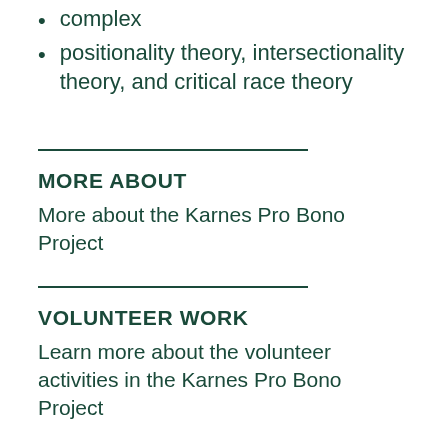complex
positionality theory, intersectionality theory, and critical race theory
MORE ABOUT
More about the Karnes Pro Bono Project
VOLUNTEER WORK
Learn more about the volunteer activities in the Karnes Pro Bono Project